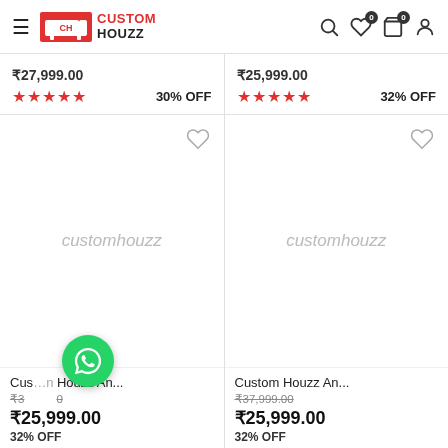Custom Houzz — navigation header with logo, search, wishlist, cart, and account icons
₹27,999.00  ★★★★★  30% OFF
₹25,999.00  ★★★★★  32% OFF
[Figure (screenshot): Product card placeholder image for Custom Houzz item with heart icon]
Cus…n Houzz An...
₹3...0
₹25,999.00
32% OFF
[Figure (screenshot): Product card placeholder image for Custom Houzz item with heart icon]
Custom Houzz An...
₹37,999.00
₹25,999.00
32% OFF